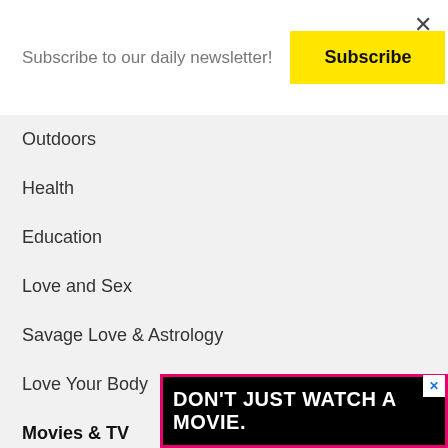Subscribe to our daily newsletter!
Subscribe
Outdoors
Health
Education
Love and Sex
Savage Love & Astrology
Love Your Body
Movies & TV
What To Stream
Reviews
Music
[Figure (screenshot): Ad banner with text DON'T JUST WATCH A MOVIE. on black background with pink/magenta border and blue X close button]